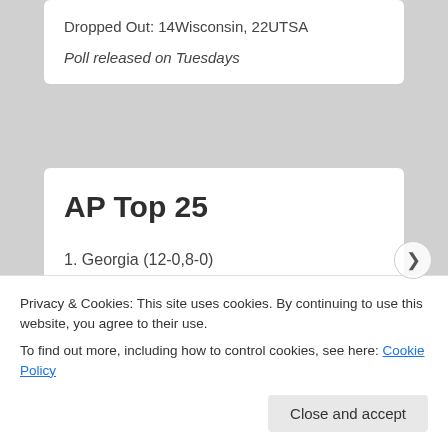Dropped Out: 14Wisconsin, 22UTSA
Poll released on Tuesdays
AP Top 25
1. Georgia (12-0,8-0)
2. Michigan (11-1,8-1)
3. Cincinnati (12-0,8-0)
Privacy & Cookies: This site uses cookies. By continuing to use this website, you agree to their use.
To find out more, including how to control cookies, see here: Cookie Policy
Close and accept